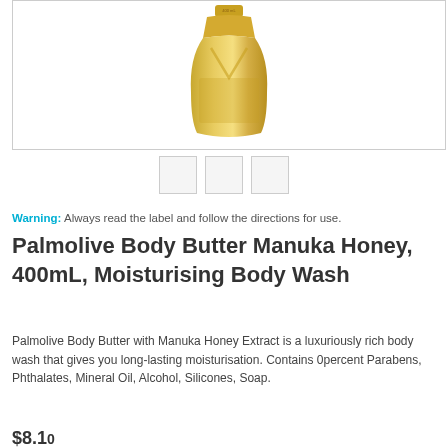[Figure (photo): Gold/amber colored Palmolive Body Butter Manuka Honey 400mL bottle photographed against white background]
[Figure (other): Three small thumbnail image placeholders in a row]
Warning: Always read the label and follow the directions for use.
Palmolive Body Butter Manuka Honey, 400mL, Moisturising Body Wash
Palmolive Body Butter with Manuka Honey Extract is a luxuriously rich body wash that gives you long-lasting moisturisation. Contains 0percent Parabens, Phthalates, Mineral Oil, Alcohol, Silicones, Soap.
$8.10